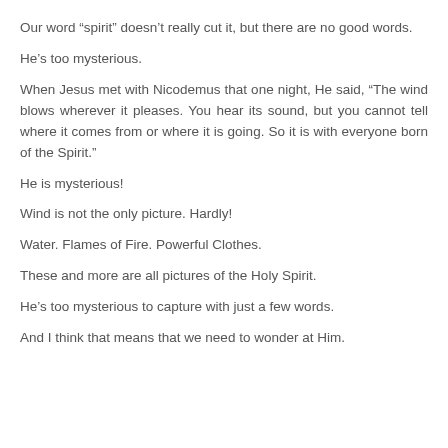Our word “spirit” doesn’t really cut it, but there are no good words.
He’s too mysterious.
When Jesus met with Nicodemus that one night, He said, “The wind blows wherever it pleases. You hear its sound, but you cannot tell where it comes from or where it is going. So it is with everyone born of the Spirit.”
He is mysterious!
Wind is not the only picture. Hardly!
Water. Flames of Fire. Powerful Clothes.
These and more are all pictures of the Holy Spirit.
He’s too mysterious to capture with just a few words.
And I think that means that we need to wonder at Him.